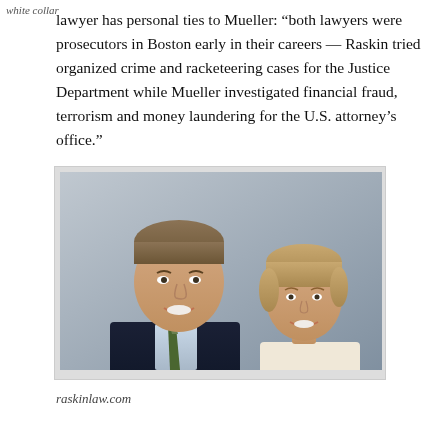white collar
lawyer has personal ties to Mueller: “both lawyers were prosecutors in Boston early in their careers — Raskin tried organized crime and racketeering cases for the Justice Department while Mueller investigated financial fraud, terrorism and money laundering for the U.S. attorney’s office.”
[Figure (photo): Professional headshot photo of two lawyers, a man on the left wearing a dark suit and green tie, and a woman on the right with short blonde hair, both smiling. Source: raskinlaw.com]
raskinlaw.com